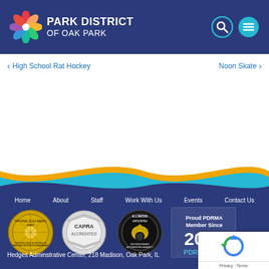[Figure (logo): Park District of Oak Park logo with colorful flower/pinwheel icon and white bold text on navy background]
[Figure (infographic): Search and menu icon buttons (circular, teal/cyan outlined) on navy header]
Park District of Oak Park
< High School Rat Hockey
Noon Skate >
[Figure (illustration): Wave decoration divider with teal and gold/yellow curves separating white content area from navy footer]
Home   About   Staff   Work With Us   Events   Contact Us
[Figure (logo): National Gold Medal Award badge (circular gold medallion)]
[Figure (logo): CAPRA Accredited badge (silver circular seal)]
[Figure (logo): Illinois IAPD/IPRA Distinguished Accredited Agency badge (circular black seal with eagle)]
[Figure (logo): Proud PDRMA Member Since 2000 badge with PDRMA logo]
Hedges Adminstrative Center, 218 Madison, Oak Park, IL